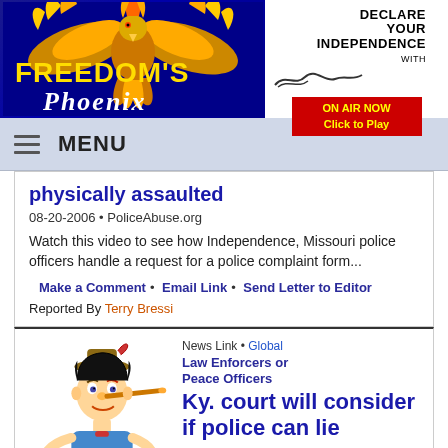[Figure (logo): Freedom's Phoenix logo with golden phoenix bird on blue background]
[Figure (logo): Declare Your Independence with Ernst - ON AIR NOW Click to Play button]
MENU
physically assaulted
08-20-2006 • PoliceAbuse.org
Watch this video to see how Independence, Missouri police officers handle a request for a police complaint form...
Make a Comment • Email Link • Send Letter to Editor
Reported By Terry Bressi
[Figure (illustration): Pinocchio cartoon illustration with long nose]
News Link • Global
Law Enforcers or Peace Officers
Ky. court will consider if police can lie
08-18-2006 •